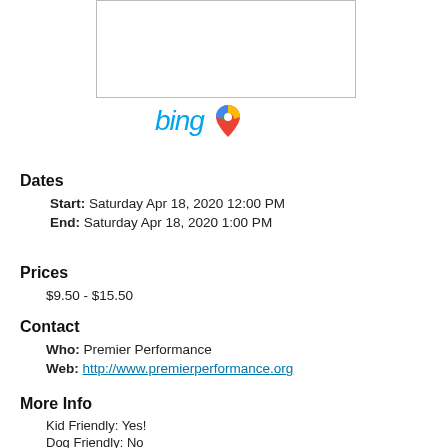[Figure (other): Map placeholder box (white rectangle with border), Bing text logo and Google icon]
Dates
Start:  Saturday Apr 18, 2020 12:00 PM
End:   Saturday Apr 18, 2020 1:00 PM
Prices
$9.50 - $15.50
Contact
Who:  Premier Performance
Web:  http://www.premierperformance.org
More Info
Kid Friendly: Yes!
Dog Friendly: No
Non-Smoking: Yes!